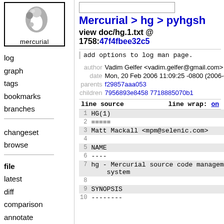[Figure (logo): Mercurial logo: grey swirl/comma shape with small circles, text 'mercurial' below, inside a black border box]
log
graph
tags
bookmarks
branches
changeset
browse
file
latest
diff
comparison
annotate
file log
raw
Mercurial > hg > pyhgsh
view doc/hg.1.txt @ 1758:47f4fbee32c5
add options to log man page.
| label | value |
| --- | --- |
| author | Vadim Gelfer <vadim.gelfer@gmail.com> |
| date | Mon, 20 Feb 2006 11:09:25 -0800 (2006-0… |
| parents | f29857aaa053 |
| children | 7956893e8458 7718885070b1 |
line source    line wrap: on
| line | source |
| --- | --- |
| 1 | HG(1) |
| 2 | ===== |
| 3 | Matt Mackall <mpm@selenic.com> |
| 4 |  |
| 5 | NAME |
| 6 | ---- |
| 7 | hg - Mercurial source code management system |
| 8 |  |
| 9 | SYNOPSIS |
| 10 | -------- |